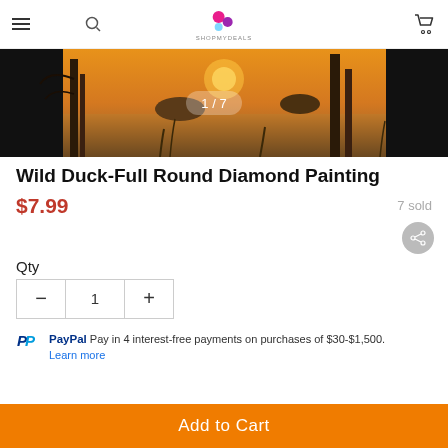SHOPMYDEALS navigation header with hamburger menu, logo, and cart icon
[Figure (photo): Product image of Wild Duck diamond painting scene - landscape with orange sunset, trees and water, showing slide indicator 1/7]
Wild Duck-Full Round Diamond Painting
$7.99   7 sold
Qty
- 1 +
PayPal Pay in 4 interest-free payments on purchases of $30-$1,500. Learn more
Add to Cart